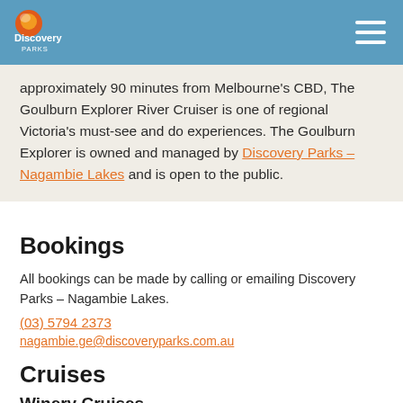Discovery Parks
approximately 90 minutes from Melbourne's CBD, The Goulburn Explorer River Cruiser is one of regional Victoria's must-see and do experiences. The Goulburn Explorer is owned and managed by Discovery Parks – Nagambie Lakes and is open to the public.
Bookings
All bookings can be made by calling or emailing Discovery Parks – Nagambie Lakes.
(03) 5794 2373
nagambie.ge@discoveryparks.com.au
Cruises
Winery Cruises
Our winery cruises link Discovery Parks – Nagambie Lakes with one of Victoria's best-loved wineries, Mitchelton Wines.